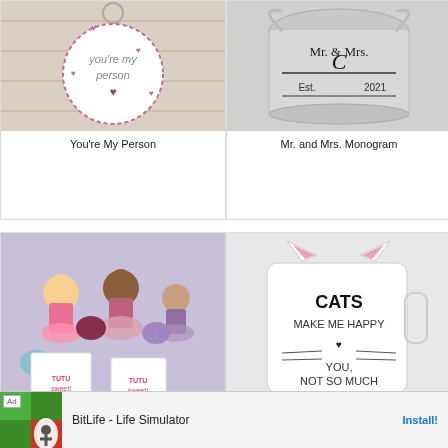[Figure (photo): Circular ornament keychain with text 'you're my person' and heart decoration on wooden background]
You're My Person
[Figure (photo): Silver metallic bucket/container with 'Mr. & Mrs. Monogram Est. 2021' text]
Mr. and Mrs. Monogram
[Figure (photo): Scrunchie ballerina valentines - ballet dancer cutouts with colorful scrunchies and 'TUTU sweet!' cards]
Scrunchie Ballerina Valentine
[Figure (photo): White mug with cat ears drawing and text 'CATS MAKE ME HAPPY YOU NOT SO MUCH']
Cats Make Me Happy
[Figure (screenshot): Advertisement banner for BitLife - Life Simulator app with Install button]